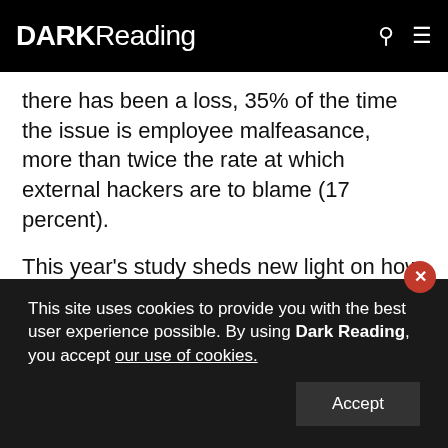DARK Reading
there has been a loss, 35% of the time the issue is employee malfeasance, more than twice the rate at which external hackers are to blame (17 percent).
This year's study sheds new light on how fraudsters interact when perpetrating frauds. Despite a decline in the overall prevalence of fraud from 75% to 61% globally, there is a continued rise in insider fraud; a key finding is that fraudsters tend either to act alone or cooperate with peers rather than with members of
This site uses cookies to provide you with the best user experience possible. By using Dark Reading, you accept our use of cookies.